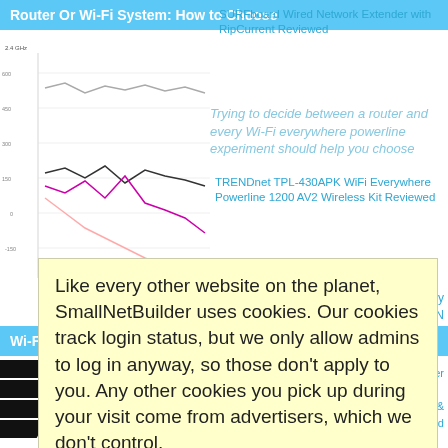Router Or Wi-Fi System: How to Choose
[Figure (line-chart): Multi-line throughput chart with lines in grey, black, magenta/pink, and light pink, showing wireless performance data]
SURFboard Wired Network Extender with RipCurrent Reviewed
Trying to decide between a router and every Wi-Fi everywhere powerline experiment should help you choose
TRENDnet TPL-430APK WiFi Everywhere Powerline 1200 AV2 Wireless Kit Reviewed
away
less N
Wi-Fi C
[Figure (logo): Black and white striped logo/icon in bottom left]
xtender
& ed
Like every other website on the planet, SmallNetBuilder uses cookies. Our cookies track login status, but we only allow admins to log in anyway, so those don't apply to you. Any other cookies you pick up during your visit come from advertisers, which we don't control.
If you continue to use the site, you agree to tolerate our use of cookies. Thank you!